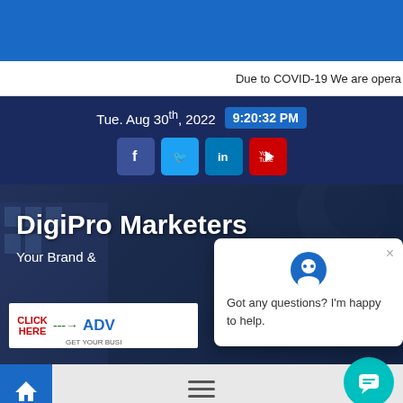[Figure (screenshot): Top blue header bar of DigiPro Marketers website]
Due to COVID-19 We are opera
Tue. Aug 30th, 2022  9:20:32 PM
[Figure (screenshot): Social media icons: Facebook, Twitter, LinkedIn, YouTube]
DigiPro Marketers
Your Brand &
CLICK HERE --> ADV GET YOUR BUSI
Got any questions? I'm happy to help.
[Figure (screenshot): Bottom navigation bar with home icon, hamburger menu, and chat bubble]